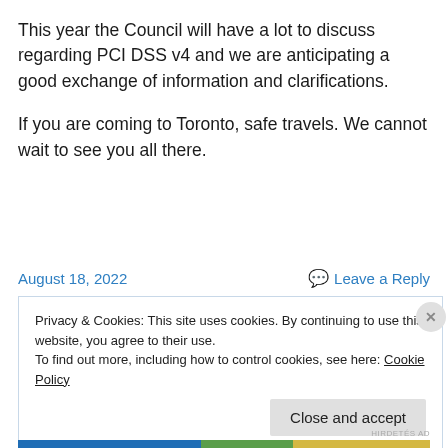This year the Council will have a lot to discuss regarding PCI DSS v4 and we are anticipating a good exchange of information and clarifications.
If you are coming to Toronto, safe travels. We cannot wait to see you all there.
August 18, 2022   Leave a Reply
Privacy & Cookies: This site uses cookies. By continuing to use this website, you agree to their use. To find out more, including how to control cookies, see here: Cookie Policy